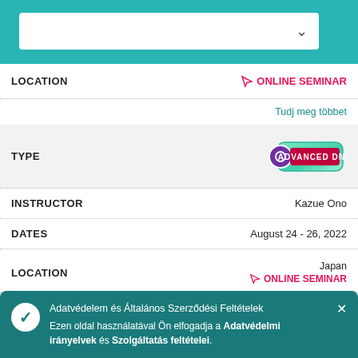[Figure (screenshot): Teal navigation bar with white dropdown selector and chevron arrow]
LOCATION
ONLINE SEMINAR
Tudj meg többet
TYPE
[Figure (logo): Advanced DNA badge with purple circle icon and red label on green rounded rectangle background]
INSTRUCTOR
Kazue Ono
DATES
August 24 - 26, 2022
LOCATION
Japan
ONLINE SEMINAR
Tudj meg többet
T
Adatvédelem és Általános Szerződési Feltételek
Ezen oldal használatával Ön elfogadja a Adatvédelmi irányelvek és Szolgáltatás feltételei.